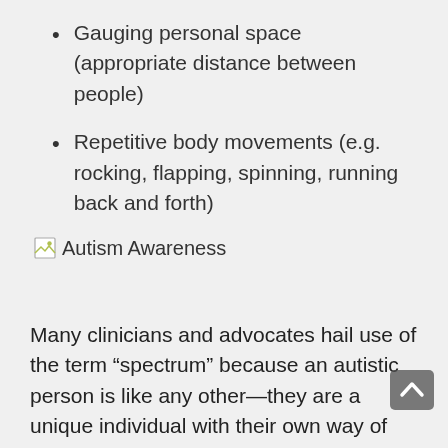Gauging personal space (appropriate distance between people)
Repetitive body movements (e.g. rocking, flapping, spinning, running back and forth)
[Figure (illustration): Broken image placeholder labeled 'Autism Awareness']
Many clinicians and advocates hail use of the term “spectrum” because an autistic person is like any other—they are a unique individual with their own way of being in the